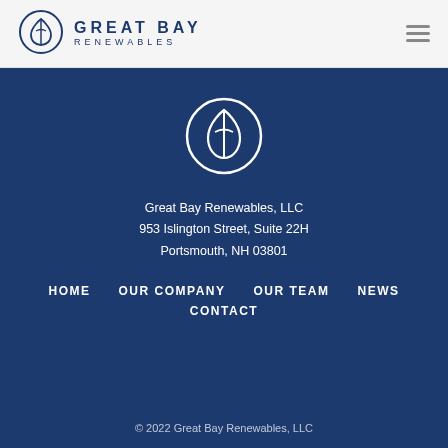[Figure (logo): Great Bay Renewables logo: circular leaf/water-drop icon in navy blue, with company name GREAT BAY RENEWABLES in navy]
GREAT BAY RENEWABLES
[Figure (logo): Great Bay Renewables circular icon in white on dark blue background]
Great Bay Renewables, LLC
953 Islington Street, Suite 22H
Portsmouth, NH 03801
HOME
OUR COMPANY
OUR TEAM
NEWS
CONTACT
© 2022 Great Bay Renewables, LLC